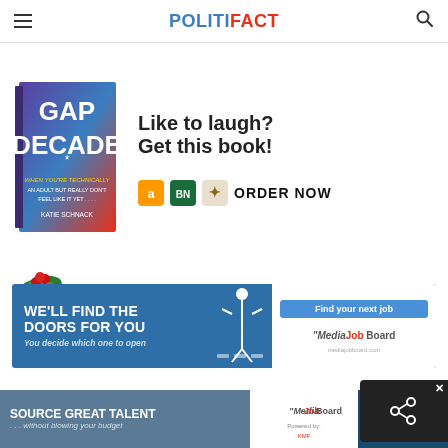POLITIFACT
[Figure (illustration): Advertisement for 'Gap Decade' book by Katie Schnack with text 'Like to laugh? Get this book!' and ORDER NOW button with Amazon, BN, and IndieBound logos, plus holly decoration]
[Figure (illustration): Media Job Board advertisement: 'WE'LL FIND THE DOORS FOR YOU - You decide which one to open' with 'Find your next job' button and Media Job Board logo]
[Figure (illustration): Bottom banner ad: 'SOURCE GREAT TALENT ...without blowing your budget' with Media Job Board logo and 'Only $199' text, plus share overlay button]